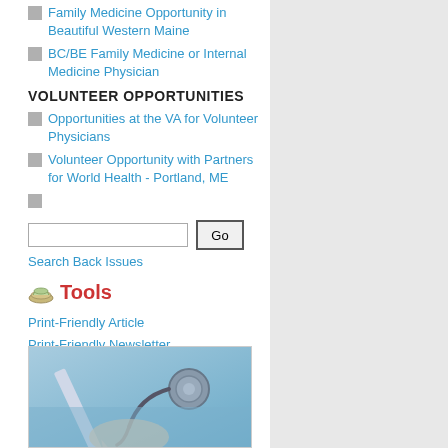Family Medicine Opportunity in Beautiful Western Maine
BC/BE Family Medicine or Internal Medicine Physician
VOLUNTEER OPPORTUNITIES
Opportunities at the VA for Volunteer Physicians
Volunteer Opportunity with Partners for World Health - Portland, ME
Search Back Issues
Tools
Print-Friendly Article
Print-Friendly Newsletter
Forward to a Friend
Forward Article
Email Version
Text-only Version
[Figure (photo): Medical photo showing a stethoscope and medical instruments with blue background]